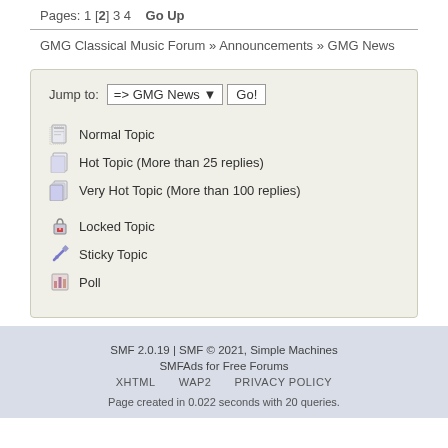Pages: 1 [2] 3 4   Go Up
GMG Classical Music Forum » Announcements » GMG News
Jump to: => GMG News  Go!
Normal Topic
Hot Topic (More than 25 replies)
Very Hot Topic (More than 100 replies)
Locked Topic
Sticky Topic
Poll
SMF 2.0.19 | SMF © 2021, Simple Machines
SMFAds for Free Forums
XHTML   WAP2   PRIVACY POLICY
Page created in 0.022 seconds with 20 queries.